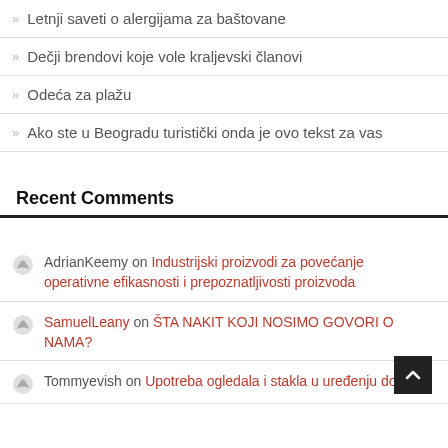Letnji saveti o alergijama za baštovane
Dečji brendovi koje vole kraljevski članovi
Odeća za plažu
Ako ste u Beogradu turistički onda je ovo tekst za vas
Recent Comments
AdrianKeemy on Industrijski proizvodi za povećanje operativne efikasnosti i prepoznatljivosti proizvoda
SamuelLeany on ŠTA NAKIT KOJI NOSIMO GOVORI O NAMA?
Tommyevish on Upotreba ogledala i stakla u uređenju doma